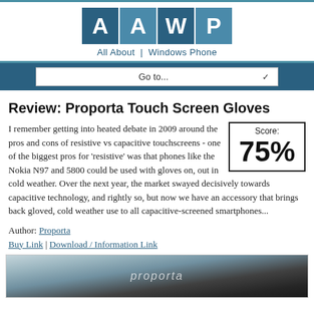[Figure (logo): AAWP logo - All About Windows Phone. Four square tiles spelling A A W P in blue/steel colors, with subtitle 'All About | Windows Phone']
Go to...
Review: Proporta Touch Screen Gloves
I remember getting into heated debate in 2009 around the pros and cons of resistive vs capacitive touchscreens - one of the biggest pros for 'resistive' was that phones like the Nokia N97 and 5800 could be used with gloves on, out in cold weather. Over the next year, the market swayed decisively towards capacitive technology, and rightly so, but now we have an accessory that brings back gloved, cold weather use to all capacitive-screened smartphones...
[Figure (infographic): Score box showing 75%]
Author: Proporta
Buy Link | Download / Information Link
[Figure (photo): Photo of Proporta touch screen gloves product packaging on a surface, showing the Proporta brand name]